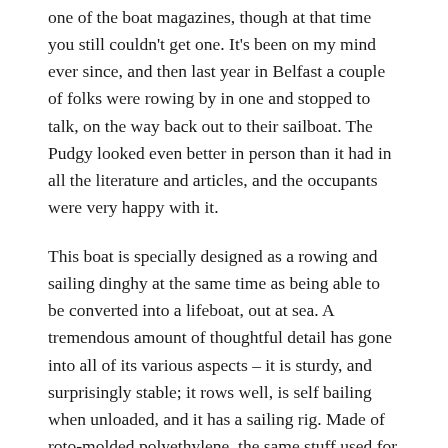one of the boat magazines, though at that time you still couldn't get one. It's been on my mind ever since, and then last year in Belfast a couple of folks were rowing by in one and stopped to talk, on the way back out to their sailboat. The Pudgy looked even better in person than it had in all the literature and articles, and the occupants were very happy with it.
This boat is specially designed as a rowing and sailing dinghy at the same time as being able to be converted into a lifeboat, out at sea. A tremendous amount of thoughtful detail has gone into all of its various aspects – it is sturdy, and surprisingly stable; it rows well, is self bailing when unloaded, and it has a sailing rig. Made of roto-molded polyethylene, the same stuff used for plastic kayaks, it's tough enough to be bumped around and not care. Self-bailing